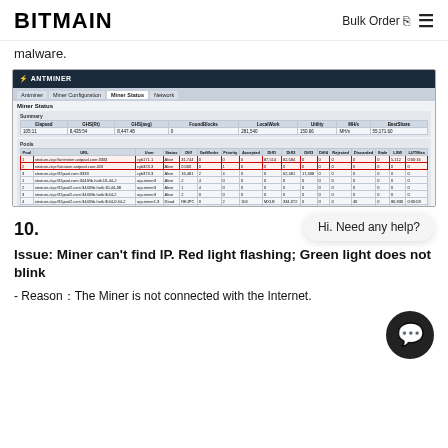BITMAIN  Bulk Order  ≡
malware.
[Figure (screenshot): Screenshot of ANTMINER Miner Status page showing pool information table with red-outlined rows highlighting suspicious pool URLs, and hashboard status section below.]
10.
Issue: Miner can't find IP. Red light flashing; Green light does not blink
- Reason：The Miner is not connected with the Internet.